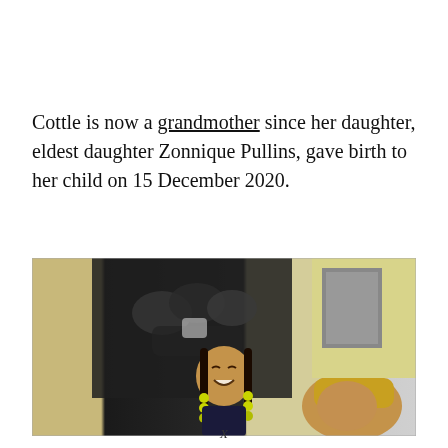Cottle is now a grandmother since her daughter, eldest daughter Zonnique Pullins, gave birth to her child on 15 December 2020.
[Figure (photo): A photo showing a young child with braids and yellow beads smiling, with an adult woman partially visible beside them, against a background with a large black-and-white artwork and a yellow wall.]
X